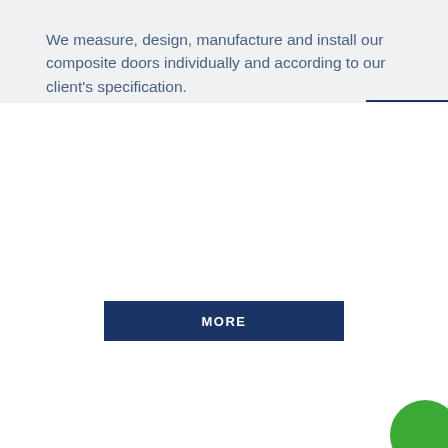We measure, design, manufacture and install our composite doors individually and according to our client's specification.
MORE